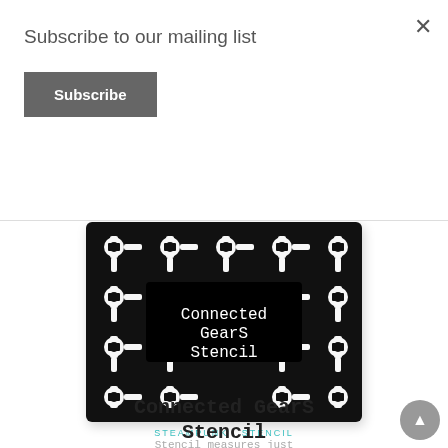Subscribe to our mailing list
Subscribe
×
[Figure (photo): Connected Gears Stencil product image showing a black and white repeating gear/mechanical pattern with a black label in the center reading 'Connected GearS Stencil' in white monospace font.]
STEAMPUNK . STENCIL
Connected GearS Stencil
Stencil measures just